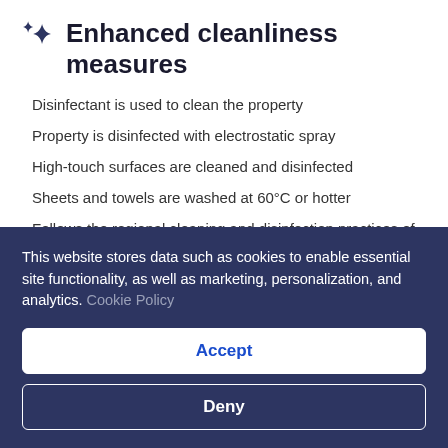Enhanced cleanliness measures
Disinfectant is used to clean the property
Property is disinfected with electrostatic spray
High-touch surfaces are cleaned and disinfected
Sheets and towels are washed at 60°C or hotter
Follows the regional cleaning and disinfection practices of Safe Hospitality National Protocol (Italy)
Follows the industry cleaning and disinfection practices of Safe Travels (WTTC - Global) and COVID-19 Guidelines (CDC)
This website stores data such as cookies to enable essential site functionality, as well as marketing, personalization, and analytics. Cookie Policy
Accept
Deny